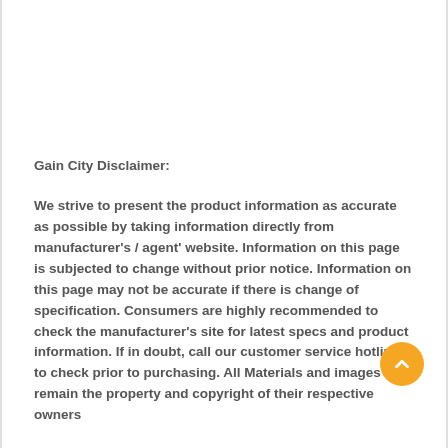Gain City Disclaimer:
We strive to present the product information as accurate as possible by taking information directly from manufacturer's / agent' website. Information on this page is subjected to change without prior notice. Information on this page may not be accurate if there is change of specification. Consumers are highly recommended to check the manufacturer's site for latest specs and product information. If in doubt, call our customer service hotline to check prior to purchasing. All Materials and images remain the property and copyright of their respective owners